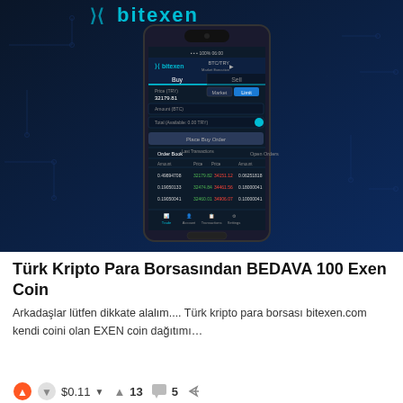[Figure (screenshot): Bitexen cryptocurrency exchange promotional image showing a Samsung smartphone with the Bitexen trading app open, displaying BTC/TRY trading pair with Buy/Sell interface, order book entries, and the Bitexen logo with blue circuit board background.]
Türk Kripto Para Borsasından BEDAVA 100 Exen Coin
Arkadaşlar lütfen dikkate alalım.... Türk kripto para borsası bitexen.com kendi coini olan EXEN coin dağıtımı…
▲ ▼ $0.11 ▼  ▲ 13  💬 5  ↗